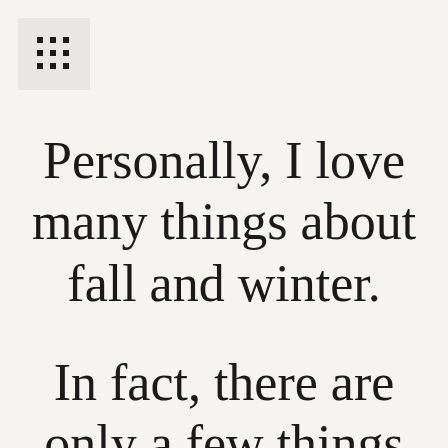[Figure (other): Grid of nine small square dots icon in a light gray square box]
Personally, I love many things about fall and winter.
In fact, there are only a few things